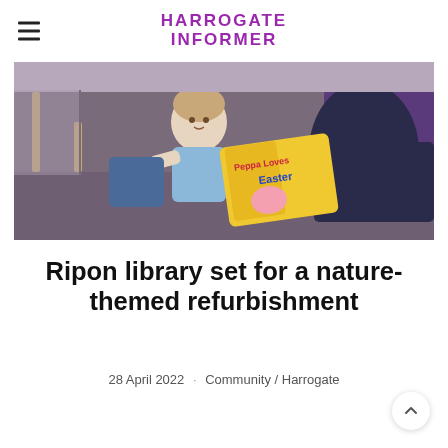HARROGATE INFORMER
[Figure (photo): A young child sitting and looking at an adult reading a 'Peppa Loves Easter' book in what appears to be a library setting with purple carpet and chairs.]
Ripon library set for a nature-themed refurbishment
28 April 2022 · Community / Harrogate